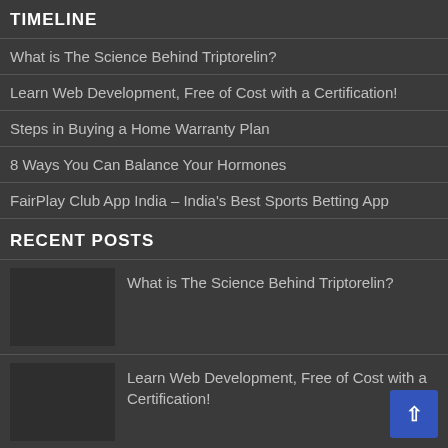TIMELINE
What is The Science Behind Triptorelin?
Learn Web Development, Free of Cost with a Certification!
Steps in Buying a Home Warranty Plan
8 Ways You Can Balance Your Hormones
FairPlay Club App India – India's Best Sports Betting App
RECENT POSTS
What is The Science Behind Triptorelin?
Learn Web Development, Free of Cost with a Certification!
Steps in Buying a Home Warranty Plan